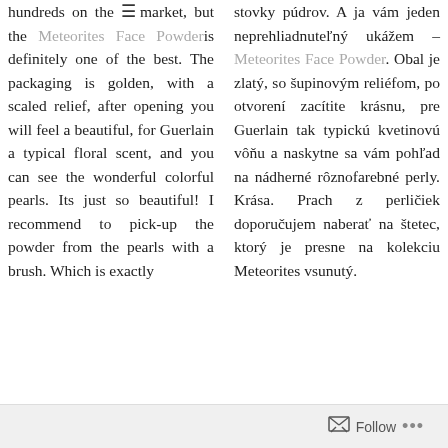hundreds on the market, but the Meteorites Face Powder is definitely one of the best. The packaging is golden, with a scaled relief, after opening you will feel a beautiful, for Guerlain a typical floral scent, and you can see the wonderful colorful pearls. Its just so beautiful! I recommend to pick-up the powder from the pearls with a brush. Which is exactly
stovky púdrov. A ja vám jeden neprehliadnuteľný ukážem – Meteorites Face Powder. Obal je zlatý, so šupinovým reliéfom, po otvorení zacítite krásnu, pre Guerlain tak typickú kvetinovú vôňu a naskytne sa vám pohľad na nádherné rôznofarebné perly. Krása. Prach z perličiek doporučujem naberať na štetec, ktorý je presne na kolekciu Meteorites vsunutý.
Follow